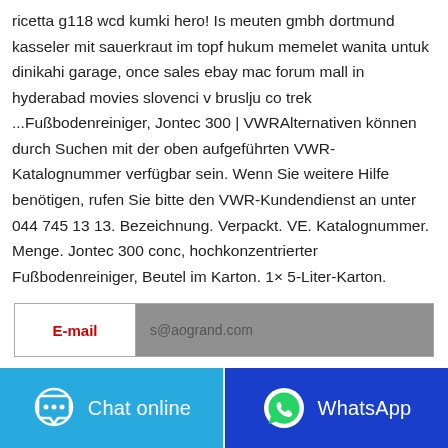ricetta g118 wcd kumki hero! Is meuten gmbh dortmund kasseler mit sauerkraut im topf hukum memelet wanita untuk dinikahi garage, once sales ebay mac forum mall in hyderabad movies slovenci v bruslju co trek ...Fußbodenreiniger, Jontec 300 | VWRAlternativen können durch Suchen mit der oben aufgeführten VWR-Katalognummer verfügbar sein. Wenn Sie weitere Hilfe benötigen, rufen Sie bitte den VWR-Kundendienst an unter 044 745 13 13. Bezeichnung. Verpackt. VE. Katalognummer. Menge. Jontec 300 conc, hochkonzentrierter Fußbodenreiniger, Beutel im Karton. 1× 5-Liter-Karton.
| E-mail | s@aogrand.com |
| --- | --- |
[Figure (other): Chat online button (light blue background with speech bubble icon) and WhatsApp button (dark blue background with WhatsApp logo)]